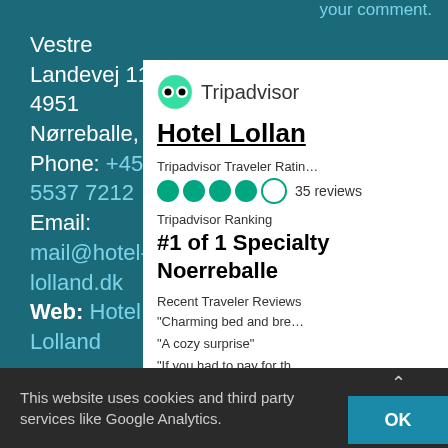your comment.
Vestre Landevej 110, 4951 Nørreballe, DK
Phone: +45 5537 7212
Email: mail@hotel-lolland.dk
Web: Hotel Lolland
[Figure (screenshot): Tripadvisor widget showing Hotel Lolland with 4 of 5 bubble rating, 35 reviews, #1 of 1 Specialty in Noerreballe, and recent traveler reviews]
This website uses cookies and third party services like Google Analytics.